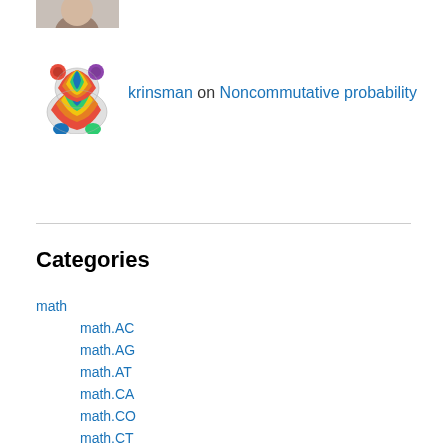[Figure (photo): Partial view of a person's photo (avatar), cropped at top]
[Figure (illustration): Colorful bear logo made of rainbow geometric shapes (krinsman avatar)]
krinsman on Noncommutative probability
Categories
math
math.AC
math.AG
math.AT
math.CA
math.CO
math.CT
math.FA
math.GN
math.GR
math.GT
math.IT
math.LO